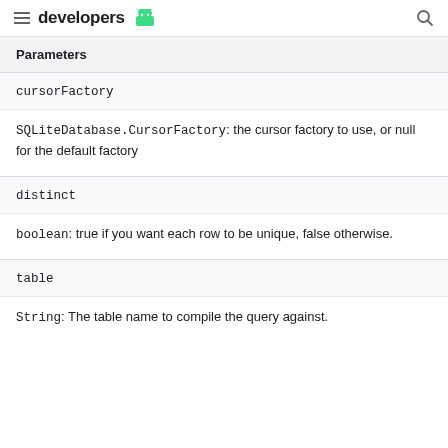developers
Parameters
cursorFactory
SQLiteDatabase.CursorFactory: the cursor factory to use, or null for the default factory
distinct
boolean: true if you want each row to be unique, false otherwise.
table
String: The table name to compile the query against.